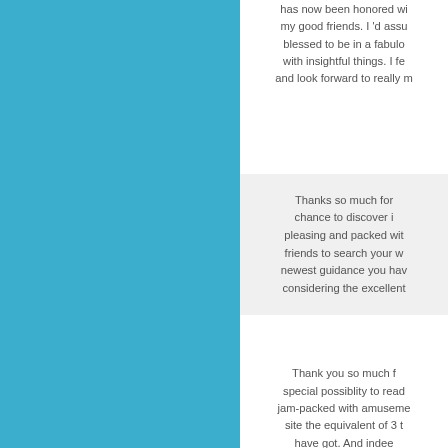has now been honored wi my good friends. I 'd assu blessed to be in a fabulo with insightful things. I fe and look forward to really m
Thanks so much for chance to discover i pleasing and packed wit friends to search your w newest guidance you hav considering the excellent
Thank you so much f special possiblity to read jam-packed with amuseme site the equivalent of 3 t have got. And indee methods you serve. Some